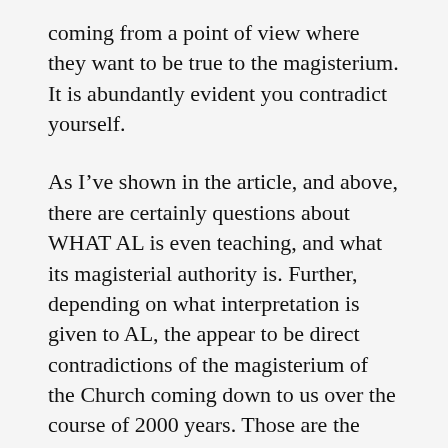coming from a point of view where they want to be true to the magisterium. It is abundantly evident you contradict yourself.
As I’ve shown in the article, and above, there are certainly questions about WHAT AL is even teaching, and what its magisterial authority is. Further, depending on what interpretation is given to AL, the appear to be direct contradictions of the magisterium of the Church coming down to us over the course of 2000 years. Those are the basic issues/questions more or less asked in the Dubia…it is not a question of “rejecting” the magisterium…it is a hope to gain clarity regarding the magisterium on this point, muddied by the various issues noted around